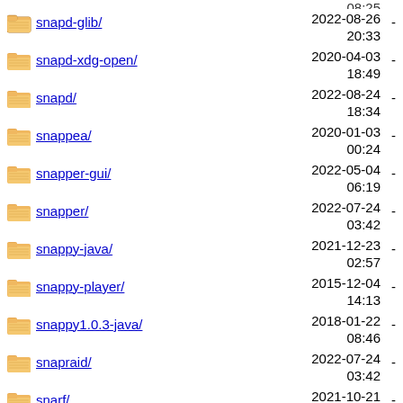snapd-glib/ 2022-08-26 20:33 -
snapd-xdg-open/ 2020-04-03 18:49 -
snapd/ 2022-08-24 18:34 -
snappea/ 2020-01-03 00:24 -
snapper-gui/ 2022-05-04 06:19 -
snapper/ 2022-07-24 03:42 -
snappy-java/ 2021-12-23 02:57 -
snappy-player/ 2015-12-04 14:13 -
snappy1.0.3-java/ 2018-01-22 08:46 -
snapraid/ 2022-07-24 03:42 -
snarf/ 2021-10-21 13:35 -